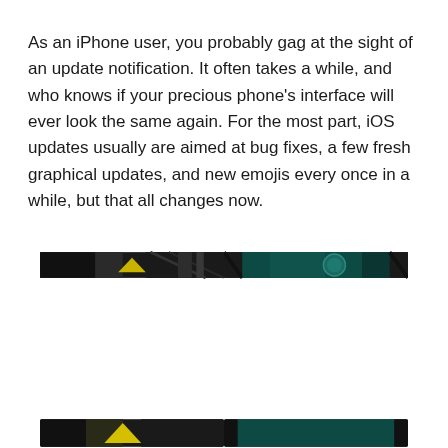As an iPhone user, you probably gag at the sight of an update notification. It often takes a while, and who knows if your precious phone's interface will ever look the same again. For the most part, iOS updates usually are aimed at bug fixes, a few fresh graphical updates, and new emojis every once in a while, but that all changes now.
[Figure (photo): Two partial image strips side by side — left shows a dark image with yellow/green accent, right shows a dark teal/green image with a circular icon]
[Figure (photo): Two more partial image strips at the bottom of the page, partially cut off]